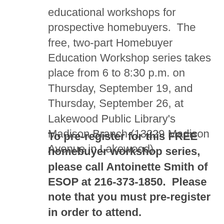educational workshops for prospective homebuyers.  The free, two-part Homebuyer Education Workshop series takes place from 6 to 8:30 p.m. on Thursday, September 19, and Thursday, September 26, at Lakewood Public Library's Madison Branch (13229 Madison Avenue in Lakewood).
To pre-register for this FREE homebuyer workshop series, please call Antoinette Smith of ESOP at 216-373-1850.  Please note that you must pre-register in order to attend.